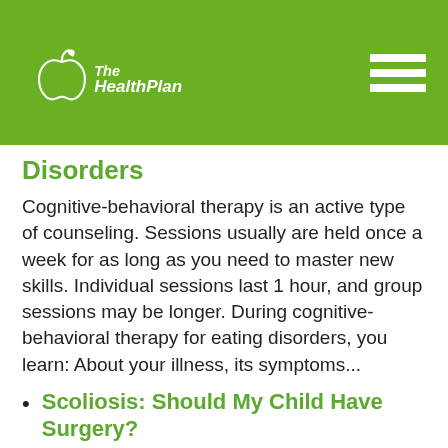[Figure (logo): The Health Plan logo — white apple outline with a leaf, and white italic text 'TheHealthPlan' on a green background]
Disorders
Cognitive-behavioral therapy is an active type of counseling. Sessions usually are held once a week for as long as you need to master new skills. Individual sessions last 1 hour, and group sessions may be longer. During cognitive-behavioral therapy for eating disorders, you learn: About your illness, its symptoms...
Scoliosis: Should My Child Have Surgery?
Guides through decision to have your child have surgery for scoliosis. Discusses curves of the spine and when surgery is normally the best...